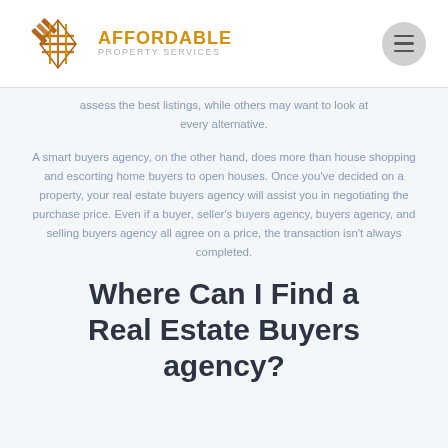Affordable
assess the best listings, while others may want to look at every alternative.
A smart buyers agency, on the other hand, does more than house shopping and escorting home buyers to open houses. Once you've decided on a property, your real estate buyers agency will assist you in negotiating the purchase price. Even if a buyer, seller's buyers agency, buyers agency, and selling buyers agency all agree on a price, the transaction isn't always completed.
Where Can I Find a Real Estate Buyers agency?